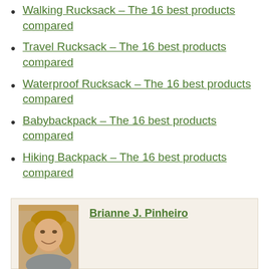Walking Rucksack – The 16 best products compared
Travel Rucksack – The 16 best products compared
Waterproof Rucksack – The 16 best products compared
Babybackpack – The 16 best products compared
Hiking Backpack – The 16 best products compared
[Figure (photo): Portrait photo of Brianne J. Pinheiro, a woman with long blonde hair, smiling]
Brianne J. Pinheiro